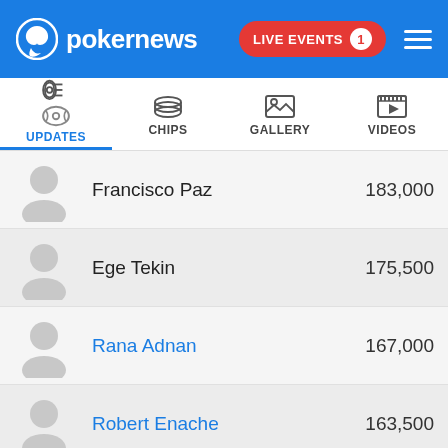pokernews — LIVE EVENTS 1
UPDATES | CHIPS | GALLERY | VIDEOS
Francisco Paz — 183,000
Ege Tekin — 175,500
Rana Adnan — 167,000
Robert Enache — 163,500
Tim Horka — 161,500